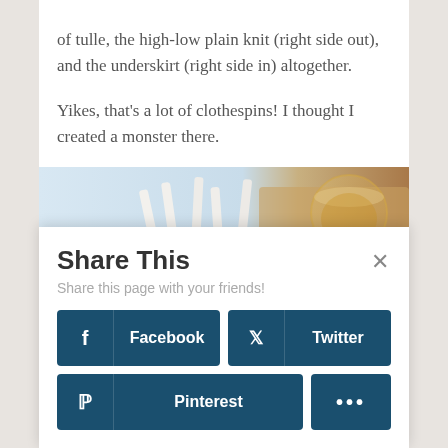of tulle, the high-low plain knit (right side out), and the underskirt (right side in) altogether.
Yikes, that's a lot of clothespins! I thought I created a monster there.
[Figure (photo): Photo showing clothespins and a glass of liquid on a light blue background]
[Figure (screenshot): Share This modal overlay with Facebook, Twitter, Pinterest, and more buttons]